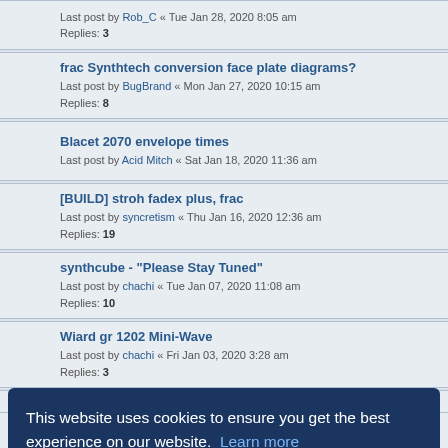Last post by Rob_C « Tue Jan 28, 2020 8:05 am
Replies: 3
frac Synthtech conversion face plate diagrams?
Last post by BugBrand « Mon Jan 27, 2020 10:15 am
Replies: 8
Blacet 2070 envelope times
Last post by Acid Mitch « Sat Jan 18, 2020 11:36 am
[BUILD] stroh fadex plus, frac
Last post by syncretism « Thu Jan 16, 2020 12:36 am
Replies: 19
synthcube - "Please Stay Tuned"
Last post by chachi « Tue Jan 07, 2020 11:08 am
Replies: 10
Wiard gr 1202 Mini-Wave
Last post by chachi « Fri Jan 03, 2020 3:28 am
Replies: 3
PAiA V/Hz Interval Scaler
This website uses cookies to ensure you get the best experience on our website. Learn more
Got it!
Last post by Rob_C « Thu Nov 21, 2019 10:10 pm
Replies: 16